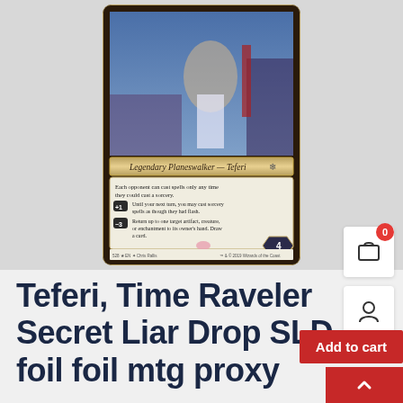[Figure (photo): A Magic: The Gathering card 'Teferi, Time Raveler' from the Secret Lair Drop series, foil version. Shows the card's artwork and text box with 'Legendary Planeswalker — Teferi', abilities including +1 and -3 loyalty abilities, loyalty counter of 4. Card number 528, SLD set, illustrated by Chris Rallis, 2019 Wizards of the Coast.]
Teferi, Time Raveler Secret Liar Drop SLD foil foil mtg proxy